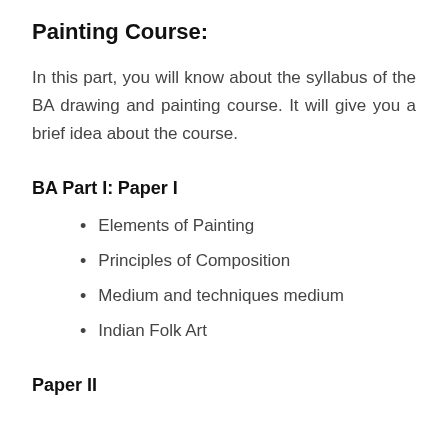Painting Course:
In this part, you will know about the syllabus of the BA drawing and painting course. It will give you a brief idea about the course.
BA Part I:
Paper I
Elements of Painting
Principles of Composition
Medium and techniques medium
Indian Folk Art
Paper II